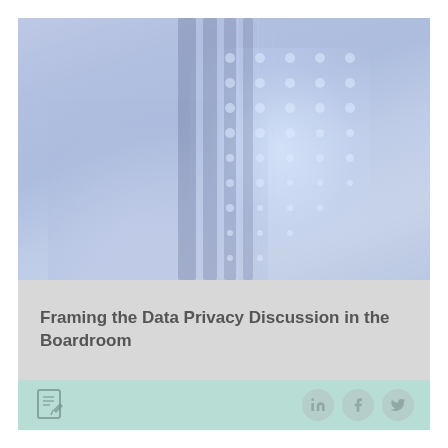[Figure (photo): Blurred/faded photo of a person's hand touching or interacting with a server rack or data center equipment, with blue and white glowing dot patterns on the right side. The image has a cool blue-lavender tint overall.]
Framing the Data Privacy Discussion in the Boardroom
Document icon with social media icons: LinkedIn, Facebook, Twitter